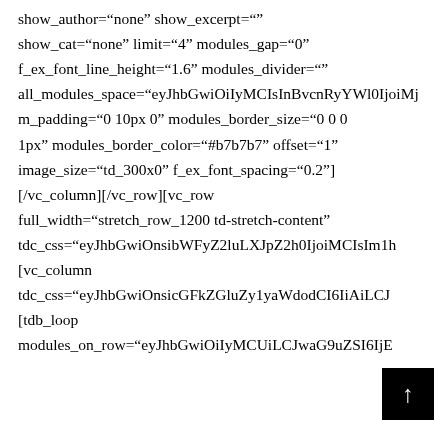show_author="none" show_excerpt="" show_cat="none" limit="4" modules_gap="0" f_ex_font_line_height="1.6" modules_divider="" all_modules_space="eyJhbGwiOiIyMCIsInBvcnRyYWl0IjoiMj m_padding="0 10px 0" modules_border_size="0 0 0 1px" modules_border_color="#b7b7b7" offset="1" image_size="td_300x0" f_ex_font_spacing="0.2"] [/vc_column][/vc_row][vc_row full_width="stretch_row_1200 td-stretch-content" tdc_css="eyJhbGwiOnsibWFyZ2luLXJpZ2h0IjoiMCIsIm1h [vc_column tdc_css="eyJhbGwiOnsicGFkZGluZy1yaWdodCI6IiAiLCJ [tdb_loop modules_on_row="eyJhbGwiOiIyMCUiLCJwaG9uZSI6IjE